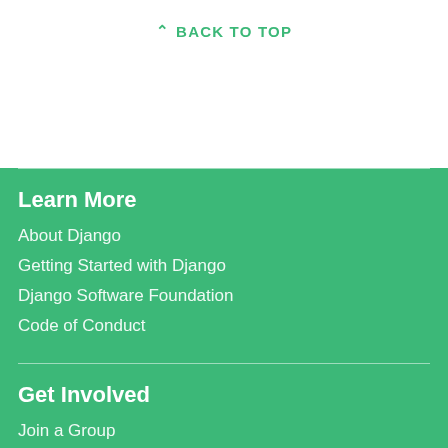BACK TO TOP
Learn More
About Django
Getting Started with Django
Django Software Foundation
Code of Conduct
Get Involved
Join a Group
Contribute to Django